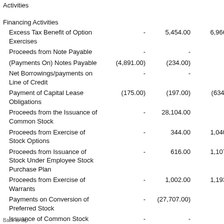|  |  |  |  |
| --- | --- | --- | --- |
| Activities |  |  |  |
| Financing Activities |  |  |  |
| Excess Tax Benefit of Option Exercises | - | 5,454.00 | 6,966.00 |
| Proceeds from Note Payable | - | - | - |
| (Payments On) Notes Payable | (4,891.00) | (234.00) | - |
| Net Borrowings/payments on Line of Credit | - | - | - |
| Payment of Capital Lease Obligations | (175.00) | (197.00) | (634.00) |
| Proceeds from the Issuance of Common Stock | - | 28,104.00 | - |
| Proceeds from Exercise of Stock Options | - | 344.00 | 1,040.00 |
| Proceeds from Issuance of Stock Under Employee Stock Purchase Plan | - | 616.00 | 1,107.00 |
| Proceeds from Exercise of Warrants | - | 1,002.00 | 1,193.00 |
| Payments on Conversion of Preferred Stock | - | (27,707.00) | - |
| Issuance of Common Stock Under Employee Stock Purchase Plan | - | - | - |
Back to top